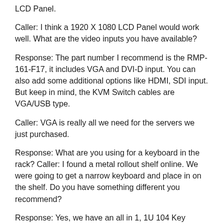LCD Panel.
Caller: I think a 1920 X 1080 LCD Panel would work well. What are the video inputs you have available?
Response: The part number I recommend is the RMP-161-F17, it includes VGA and DVI-D input. You can also add some additional options like HDMI, SDI input. But keep in mind, the KVM Switch cables are VGA/USB type.
Caller: VGA is really all we need for the servers we just purchased.
Response: What are you using for a keyboard in the rack? Caller: I found a metal rollout shelf online. We were going to get a narrow keyboard and place in on the shelf. Do you have something different you recommend?
Response: Yes, we have an all in 1, 1U 104 Key Notebook Keyboard available with either touch pad or track ball mouse. The design is modular so if, say, five years down the road, a key when bad, we can provide a new keyboard insert for a